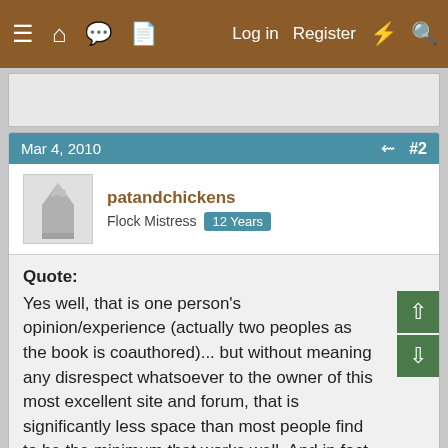≡ 🏠 💬 📄   Log in   Register   ⚡   🔍
Mar 4, 2010   #2
patandchickens
Flock Mistress  12 Years
Quote:
Yes well, that is one person's opinion/experience (actually two peoples as the book is coauthored)... but without meaning any disrespect whatsoever to the owner of this most excellent site and forum, that is significantly less space than most people find to be the minimum that works well. And in fact I am not even willing to keep chickens in 4 sq ft + 10 sq ft sized space, having SEEN how they behave in larger areas.
So I think it is worth your seriously considering the